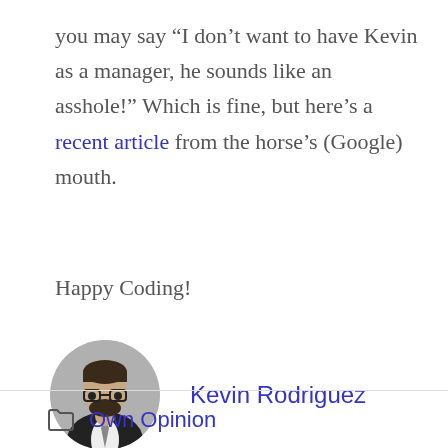you may say “I don’t want to have Kevin as a manager, he sounds like an asshole!” Which is fine, but here’s a recent article from the horse’s (Google) mouth.
Happy Coding!
[Figure (photo): Circular avatar photo of Kevin Rodriguez, a man with glasses and a beard wearing a dark suit with a tie]
Kevin Rodriguez
Own Opinion